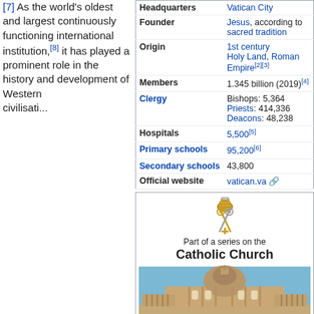[7] As the world's oldest and largest continuously functioning international institution,[8] it has played a prominent role in the history and development of Western civilisation...
| Field | Value |
| --- | --- |
| Headquarters | Vatican City |
| Founder | Jesus, according to sacred tradition |
| Origin | 1st century Holy Land, Roman Empire[2][3] |
| Members | 1.345 billion (2019)[4] |
| Clergy | Bishops: 5,364 | Priests: 414,336 | Deacons: 48,238 |
| Hospitals | 5,500[5] |
| Primary schools | 95,200[6] |
| Secondary schools | 43,800 |
| Official website | vatican.va |
[Figure (illustration): Papal cross / Keys of Saint Peter emblem icon for the Catholic Church series box]
Part of a series on the
Catholic Church
[Figure (photo): Photograph of St. Peter's Basilica facade against a blue sky]